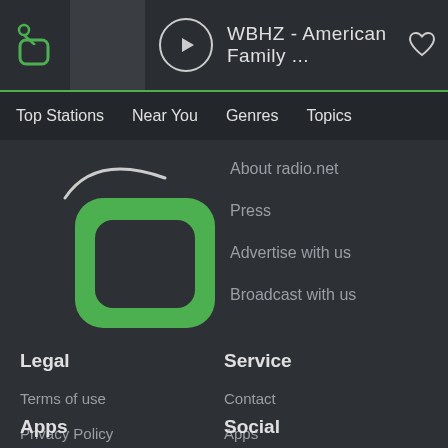[Figure (screenshot): radio.net app top bar with logo, play button, station name 'WBHZ - American Family ...' and heart icon]
Top Stations | Near You | Genres | Topics
[Figure (logo): radio.net green square logo on dark background]
About radio.net
Press
Advertise with us
Broadcast with us
Legal
Service
Terms of use
Contact
Privacy Policy
Apps
Legal notice
Help / FAQ
Apps
Social